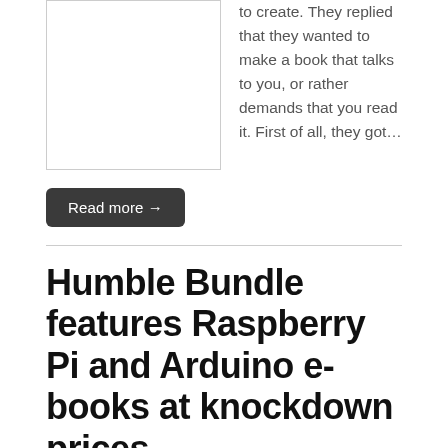[Figure (photo): Thumbnail image placeholder (white box with border)]
to create. They replied that they wanted to make a book that talks to you, or rather demands that you read it. First of all, they got…
Read more →
Humble Bundle features Raspberry Pi and Arduino e-books at knockdown prices
by Michael Horne • 14 March 2018 • 0 Comments
[Figure (photo): Thumbnail image placeholder (white box with border)]
Tim's just alerted me to the latest Humble Bundle book deals, and they are great bundles to grab! They're all Wiley books, so the quality is